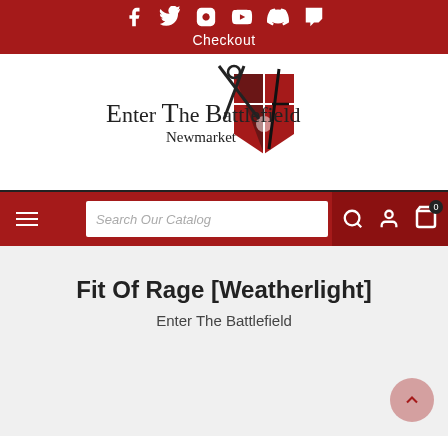Social media icons: Facebook, Twitter, Instagram, YouTube, Discord, Twitch
Checkout
[Figure (logo): Enter The Battlefield Newmarket logo with shield, sword, and scissors]
Search Our Catalog - navigation bar with hamburger menu, search, user, and cart icons
Fit Of Rage [Weatherlight]
Enter The Battlefield